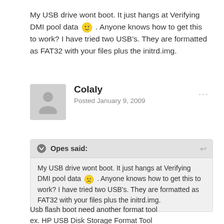My USB drive wont boot. It just hangs at Verifying DMI pool data 🙂 . Anyone knows how to get this to work? I have tried two USB's. They are formatted as FAT32 with your files plus the initrd.img.
Colaly
Posted January 9, 2009
Opes said:
My USB drive wont boot. It just hangs at Verifying DMI pool data 🙁 . Anyone knows how to get this to work? I have tried two USB's. They are formatted as FAT32 with your files plus the initrd.img.
Usb flash boot need another format tool
ex. HP USB Disk Storage Format Tool